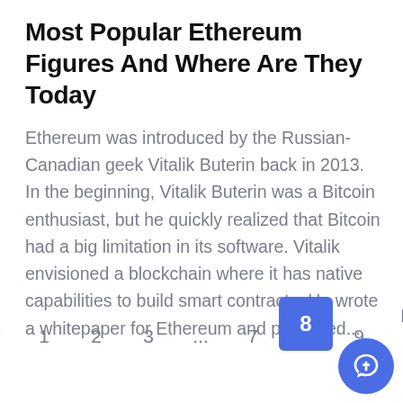Most Popular Ethereum Figures And Where Are They Today
Ethereum was introduced by the Russian-Canadian geek Vitalik Buterin back in 2013. In the beginning, Vitalik Buterin was a Bitcoin enthusiast, but he quickly realized that Bitcoin had a big limitation in its software. Vitalik envisioned a blockchain where it has native capabilities to build smart contracts. He wrote a whitepaper for Ethereum and published...
« Prev  1  2  3  ...  7  8  9  Next